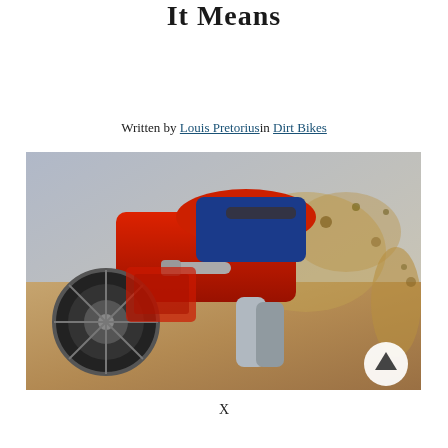It Means
Written by Louis Pretorius in Dirt Bikes
[Figure (photo): A motocross rider on a red dirt bike kicking up dirt and rocks while riding, close-up action shot showing the bike engine, exhaust, and rider's legs in protective gear]
X